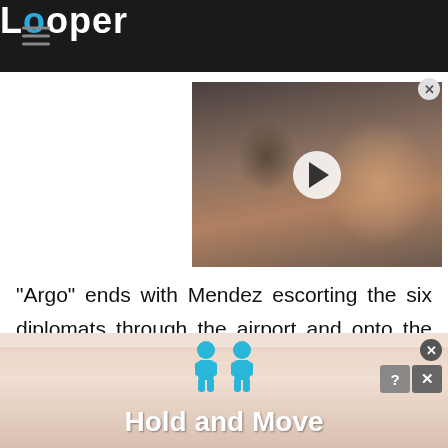Looper
[Figure (photo): Video thumbnail showing a close-up face of a man outdoors with a play button overlay]
"Argo" ends with Mendez escorting the six diplomats through the airport and onto the plane without the Revolutionary Guard figuring out who they are. The real-life Mendez reminisced about getting the Americans out in an interview with NPR, alongside former U.S. Ambassador...
[Figure (illustration): Advertisement banner with blue human figure icons and text 'Hold and Move' on a striped peach/salmon background]